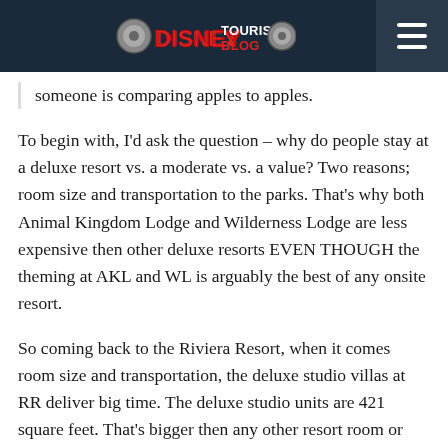DISNEYTOURISTBLOG
someone is comparing apples to apples.
To begin with, I'd ask the question – why do people stay at a deluxe resort vs. a moderate vs. a value? Two reasons; room size and transportation to the parks. That's why both Animal Kingdom Lodge and Wilderness Lodge are less expensive then other deluxe resorts EVEN THOUGH the theming at AKL and WL is arguably the best of any onsite resort.
So coming back to the Riviera Resort, when it comes room size and transportation, the deluxe studio villas at RR deliver big time. The deluxe studio units are 421 square feet. That's bigger then any other resort room or DVC studio unit with the exception of the rooms at the Grand Floridian (440 square feet) and the Polynesian Studio Villas (465 square feet). For those who complain about the RR prices, the GF and Poly